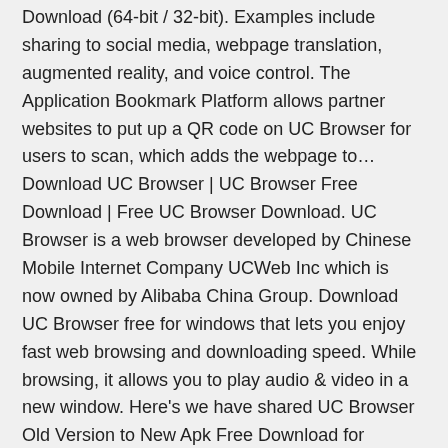Download (64-bit / 32-bit). Examples include sharing to social media, webpage translation, augmented reality, and voice control. The Application Bookmark Platform allows partner websites to put up a QR code on UC Browser for users to scan, which adds the webpage to… Download UC Browser | UC Browser Free Download | Free UC Browser Download. UC Browser is a web browser developed by Chinese Mobile Internet Company UCWeb Inc which is now owned by Alibaba China Group. Download UC Browser free for windows that lets you enjoy fast web browsing and downloading speed. While browsing, it allows you to play audio & video in a new window. Here's we have shared UC Browser Old Version to New Apk Free Download for Android. We don't recommend you to latest UC browser.
25 Sep 2018 Fast Downloads Enjoy high speed downloads with a resume